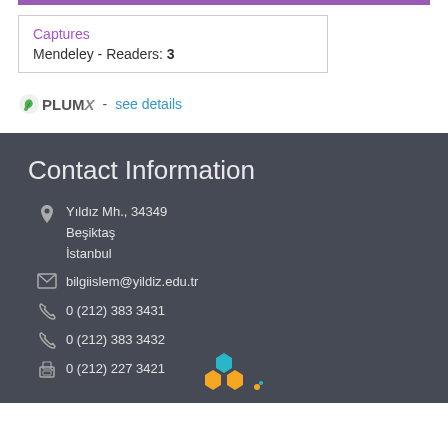Captures
Mendeley - Readers: 3
PLUMX - see details
Contact Information
Yıldız Mh., 34349
Beşiktaş
İstanbul
bilgiislem@yildiz.edu.tr
0 (212) 383 3431
0 (212) 383 3432
0 (212) 227 3421